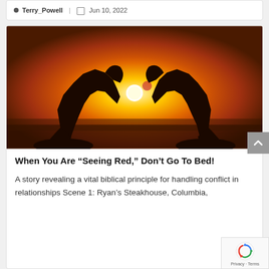Terry_Powell | Jun 10, 2022
[Figure (photo): Silhouette of two hands forming a heart shape against a warm orange sunset sky, with the sun visible through the heart opening]
When You Are “Seeing Red,” Don’t Go To Bed!
A story revealing a vital biblical principle for handling conflict in relationships Scene 1: Ryan’s Steakhouse, Columbia,